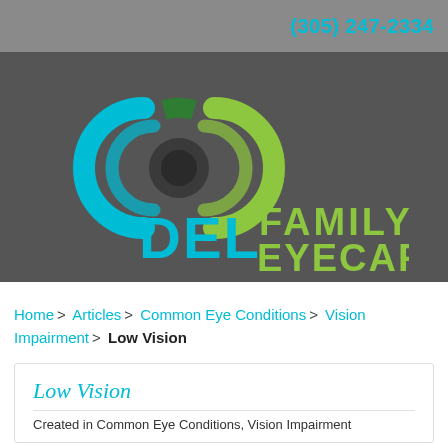(305) 247-2334
[Figure (logo): Del Family Eyecare logo: stylized eye graphic with teal and green-yellow iris arcs, dark pupil, with 'DEL' in teal and 'FAMILY EYECARE' in green-yellow text on dark gray background]
Home > Articles > Common Eye Conditions > Vision Impairment > Low Vision
Low Vision
Created in Common Eye Conditions, Vision Impairment